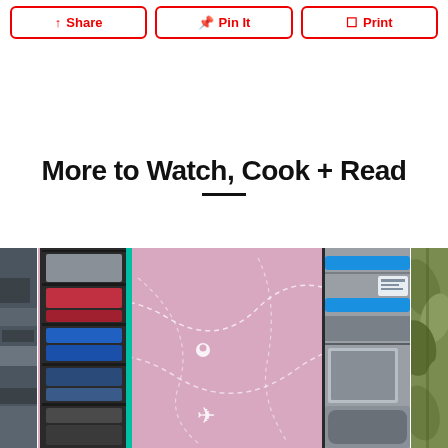Share | Pin It | Print
More to Watch, Cook + Read
[Figure (photo): Travel organizer / packing cubes product image with pink map background showing luggage organizers with blue accents, partially cropped images on left and right edges]